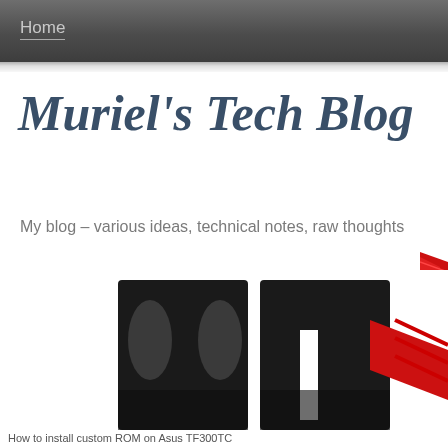Home
Muriel's Tech Blog
My blog – various ideas, technical notes, raw thoughts
[Figure (screenshot): A logo/image showing dark stylized letters that appear to be part of a gaming or tech brand logo, partially visible, with red arrow elements]
How to install custom ROM on Asus TF300TC